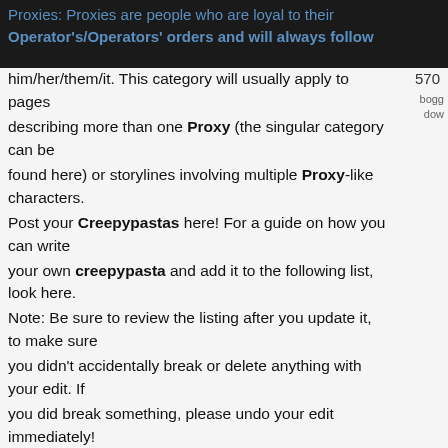Proxies: Proxies are people who are loyal to their Operator's/Operators' orders and will always follow him/her/them/it.
him/her/them/it. This category will usually apply to pages describing more than one Proxy (the singular category can be found here) or storylines involving multiple Proxy-like characters. Post your Creepypastas here! For a guide on how you can write your own creepypasta and add it to the following list, look here. Note: Be sure to review the listing after you update it, to make sure you didn't accidentally break or delete anything with your edit. If you did break something, please undo your edit immediately! ~11/14/1997 ~13666 ~2005 ~3 Colors ^ ~310 ~48°52.6'S Quiz z działu Creepypasta czeka na Ciebie! Quizy Creepypasta - sprawdź największą bazę quizów o tematyce Creepypasta. Rozwiązuj quizy, testy, głosowania lub stwórz swoje własne. ... GoldenfreddyPL9 • 2 lata temu • #creepypasta #proxy #slenderman . GoldenfreddyPL9. Którego z proxy przypominasz? Dowiedz się, który z proxy ... So you love you some Creepypasta. Ever wonder which one
570